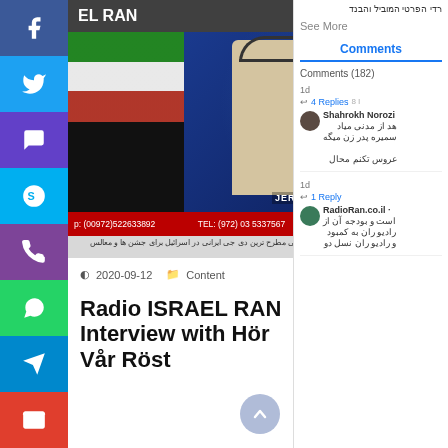[Figure (screenshot): Screenshot of a Facebook/social media page showing a video from Radio Israel Ran (רדיו ראן) with a person wearing headphones in a studio labeled JERUSALEM STUDIO, Iranian flag visible, phone numbers shown: (00972)522633892 TEL: (972) 03 5337567, Persian text below]
2020-09-12   Content
Radio ISRAEL RAN Interview with Hör Vår Röst